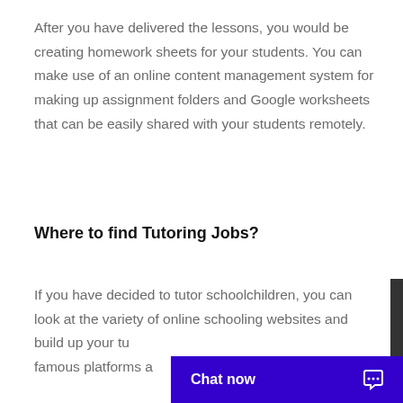After you have delivered the lessons, you would be creating homework sheets for your students. You can make use of an online content management system for making up assignment folders and Google worksheets that can be easily shared with your students remotely.
Where to find Tutoring Jobs?
If you have decided to tutor schoolchildren, you can look at the variety of online schooling websites and build up your tu... famous platforms a...